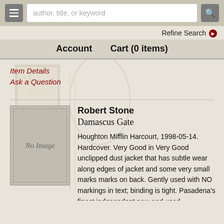[Figure (screenshot): Website header with hamburger menu button, search input field with placeholder 'author, title, or keyword', and search button]
Refine Search ❯
Account   Cart (0 items)
Item Details
Ask a Question
[Figure (photo): Book cover placeholder showing 'No Image' text]
Robert Stone
Damascus Gate
Houghton Mifflin Harcourt, 1998-05-14. Hardcover. Very Good in Very Good unclipped dust jacket that has subtle wear along edges of jacket and some very small marks marks on back. Gently used with NO markings in text; binding is tight. Pasadena's finest independent new and used